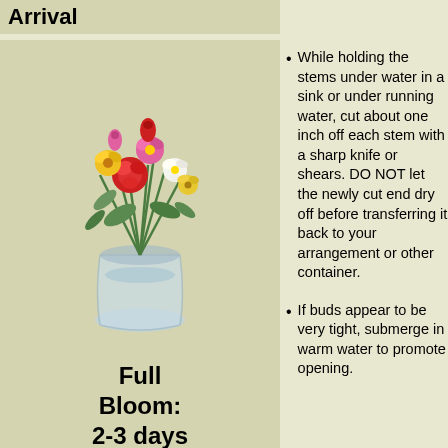Arrival
[Figure (illustration): A colorful flower bouquet with red, pink, yellow, and white flowers in a clear glass vase]
Full Bloom: 2-3 days Later
While holding the stems under water in a sink or under running water, cut about one inch off each stem with a sharp knife or shears. DO NOT let the newly cut end dry off before transferring it back to your arrangement or other container.
If buds appear to be very tight, submerge in warm water to promote opening.